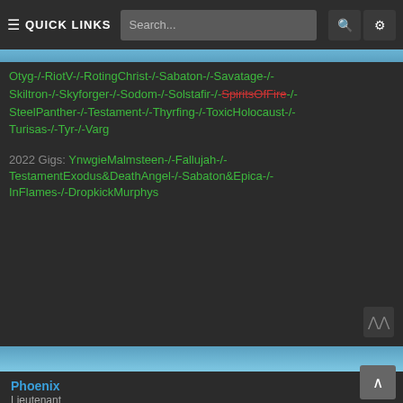≡ QUICK LINKS   Search...   🔍   ⚙
Otyg-/-RiotV-/-RotingChrist-/-Sabaton-/-Savatage-/-Skiltron-/-Skyforger-/-Sodom-/-Solstafir-/-SpiritsOfFire-/-SteelPanther-/-Testament-/-Thyrfing-/-ToxicHolocaust-/-Turisas-/-Tyr-/-Varg
2022 Gigs: YnwgieMalmsteen-/-Fallujah-/-TestamentExodus&DeathAngel-/-Sabaton&Epica-/-InFlames-/-DropkickMurphys
Phoenix
Lieutenant
Re: Sailors! Prepare Your Wishlists For 70000TONS OF METAL 2023!
Tue Apr 05, 2022 2:57 pm